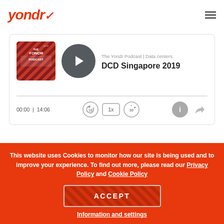yondr
[Figure (screenshot): Podcast player card showing The Yondr Podcast | Data centers - DCD Singapore 2019 with play button, thumbnail, progress bar, time display 00:00 | 14:06, and playback controls (rewind 10, 1x speed, forward 30, info, share)]
This website uses Cookies to monitor how our site is being used and to improve your experience. To find out more, please read our Privacy Policy and Cookie Policy
ACCEPT
Information and settings